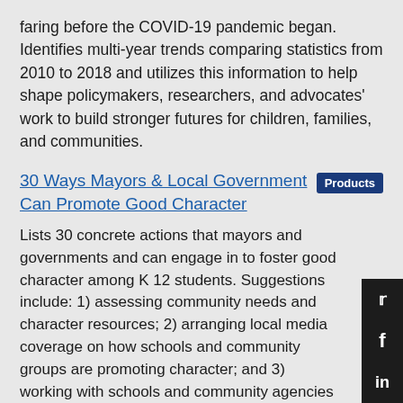faring before the COVID-19 pandemic began. Identifies multi-year trends comparing statistics from 2010 to 2018 and utilizes this information to help shape policymakers, researchers, and advocates' work to build stronger futures for children, families, and communities.
30 Ways Mayors & Local Government Can Promote Good Character
Lists 30 concrete actions that mayors and governments and can engage in to foster good character among K 12 students. Suggestions include: 1) assessing community needs and character resources; 2) arranging local media coverage on how schools and community groups are promoting character; and 3) working with schools and community agencies to expand students' opportunities for service learning.
4 Resources to Support Students During the Pandemic